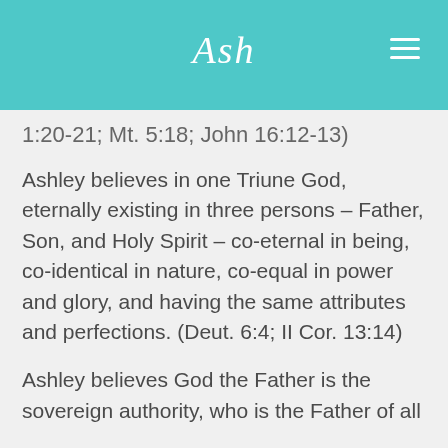[Figure (logo): Ash logo in white cursive script on teal/turquoise header bar with hamburger menu icon on the right]
1:20-21; Mt. 5:18; John 16:12-13)
Ashley believes in one Triune God, eternally existing in three persons – Father, Son, and Holy Spirit – co-eternal in being, co-identical in nature, co-equal in power and glory, and having the same attributes and perfections. (Deut. 6:4; II Cor. 13:14)
Ashley believes God the Father is the sovereign authority, who is the Father of all